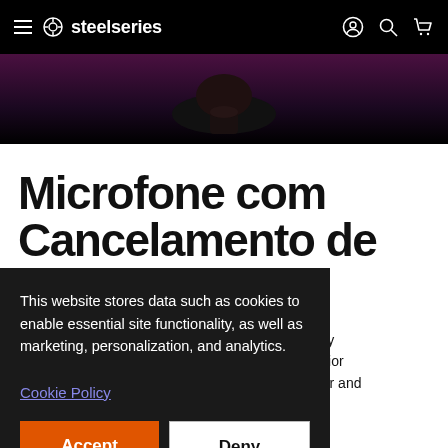steelseries
[Figure (photo): Dark purple/black background with a person wearing headphones visible from chin down, wearing a black turtleneck]
Microfone com Cancelamento de
hone
sed by
superior
s clear and
go.
This website stores data such as cookies to enable essential site functionality, as well as marketing, personalization, and analytics.
Cookie Policy
Accept
Deny